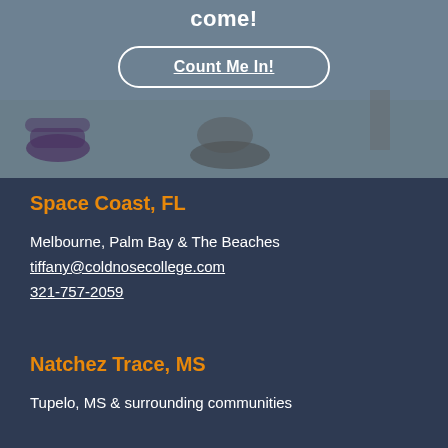[Figure (photo): Grayscale photo of a dog being trained/exercised outdoors on grass, with exercise equipment visible]
come!
Count Me In!
Space Coast, FL
Melbourne, Palm Bay & The Beaches
tiffany@coldnosecollege.com
321-757-2059
Natchez Trace, MS
Tupelo, MS & surrounding communities